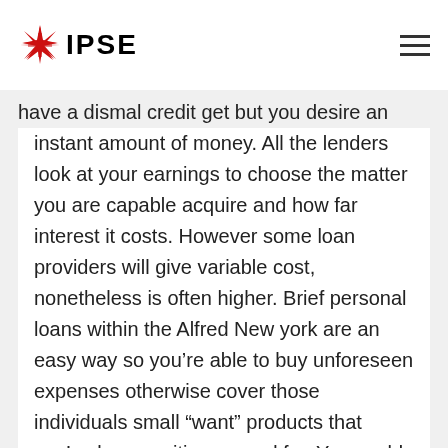IPSE
be used because of the people who have credit scores or those who have a dismal credit get but you desire an instant amount of money. All the lenders look at your earnings to choose the matter you are capable acquire and how far interest it costs. However some loan providers will give variable cost, nonetheless is often higher. Brief personal loans within the Alfred New york are an easy way so you're able to buy unforeseen expenses otherwise cover those individuals small “want” products that you’ve been waiting around for. You could incorporate and have accepted on line within just minutes, much faster than using on a region financial if you don’t thanks to other on the internet loan providers. Before taking away a personal